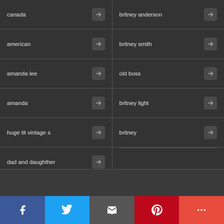canada
britney anderson
american
britney smith
amanda lee
old boss
amanda
britney light
huge tit vintage s
britney
dad and daughther
Popular Categories
[Figure (infographic): Social share bar with Facebook, Twitter, Email, Pinterest, and More buttons]